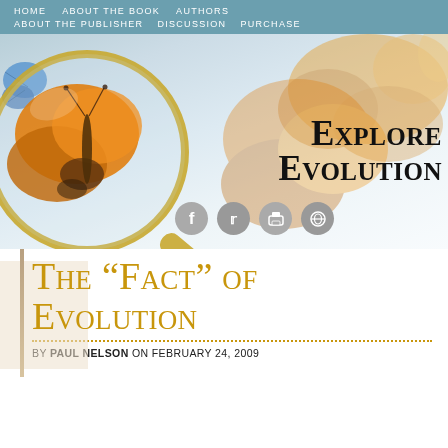HOME   ABOUT THE BOOK   AUTHORS   ABOUT THE PUBLISHER   DISCUSSION   PURCHASE
[Figure (illustration): Hero banner image showing butterflies and a magnifying glass with 'Explore Evolution' text and social media icons]
The “Fact” of Evolution
BY PAUL NELSON ON FEBRUARY 24, 2009